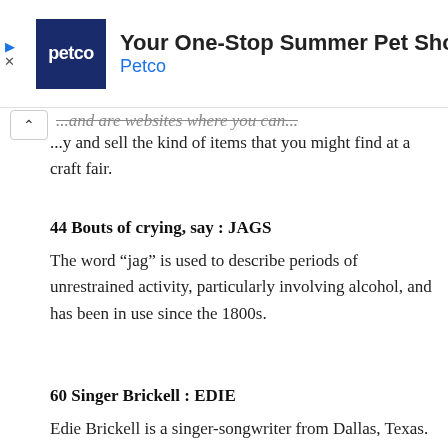[Figure (screenshot): Petco advertisement banner: Petco logo (white text on dark blue background), headline 'Your One-Stop Summer Pet Shop', brand name 'Petco' in blue, navigation diamond icon on right. Small triangle and X icons on the far left.]
…and sell the kind of items that you might find at a craft fair.
44 Bouts of crying, say : JAGS
The word “jag” is used to describe periods of unrestrained activity, particularly involving alcohol, and has been in use since the 1800s.
60 Singer Brickell : EDIE
Edie Brickell is a singer-songwriter from Dallas, Texas. Brickell has been married to fellow singer